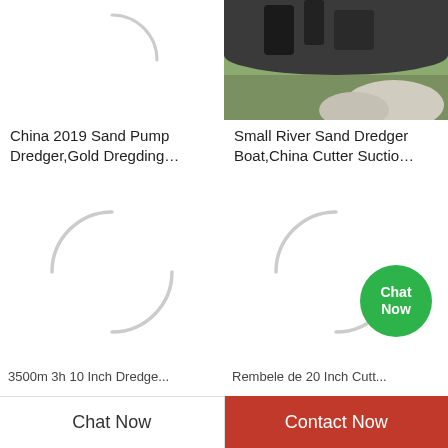[Figure (photo): Loading spinner / partial arc shown for product image placeholder]
[Figure (photo): Photo of dredger boat equipment outdoors with sand mounds and dark machinery]
China 2019 Sand Pump Dredger,Gold Dregding…
Small River Sand Dredger Boat,China Cutter Suctio…
[Figure (photo): Loading spinner / partial arc shown for product image placeholder]
[Figure (photo): Loading spinner / partial arc shown for product image placeholder with Chat Now button]
3500m 3h 10 Inch Dredge...
Rembele de 20 Inch Cutt...
Chat Now
Contact Now